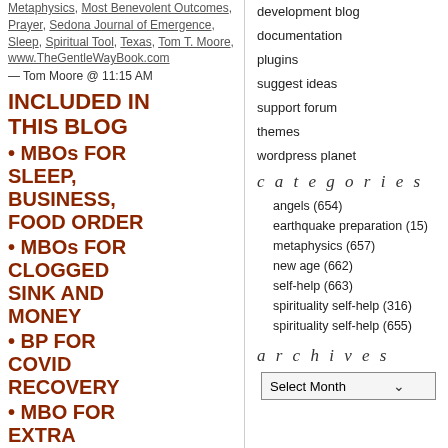Metaphysics, Most Benevolent Outcomes, Prayer, Sedona Journal of Emergence, Sleep, Spiritual Tool, Texas, Tom T. Moore, www.TheGentleWayBook.com
— Tom Moore @ 11:15 AM
INCLUDED IN THIS BLOG
• MBOs FOR SLEEP, BUSINESS, FOOD ORDER
• MBOs FOR CLOGGED SINK AND MONEY
• BP FOR COVID RECOVERY
• MBO FOR EXTRA
development blog
documentation
plugins
suggest ideas
support forum
themes
wordpress planet
categories
angels (654)
earthquake preparation (15)
metaphysics (657)
new age (662)
self-help (663)
spirituality self-help (316)
spirituality self-help (655)
archives
Select Month